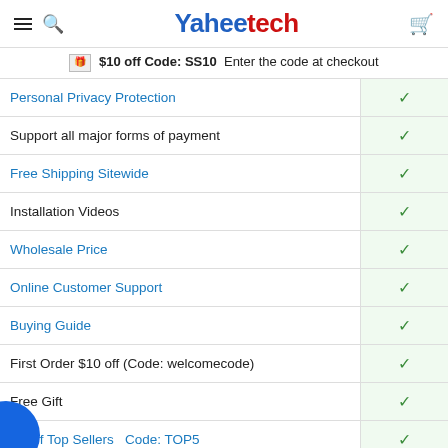Yaheetech
$10 off Code: SS10  Enter the code at checkout
| Feature | Available |
| --- | --- |
| Personal Privacy Protection | ✓ |
| Support all major forms of payment | ✓ |
| Free Shipping Sitewide | ✓ |
| Installation Videos | ✓ |
| Wholesale Price | ✓ |
| Online Customer Support | ✓ |
| Buying Guide | ✓ |
| First Order $10 off (Code: welcomecode) | ✓ |
| Free Gift | ✓ |
| $5 off Top Sellers   Code: TOP5 | ✓ |